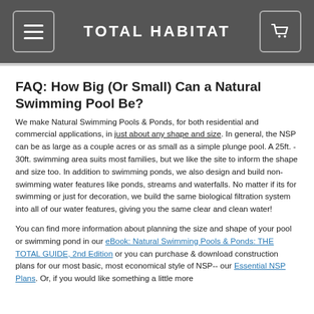TOTAL HABITAT
FAQ: How Big (Or Small) Can a Natural Swimming Pool Be?
We make Natural Swimming Pools & Ponds, for both residential and commercial applications, in just about any shape and size. In general, the NSP can be as large as a couple acres or as small as a simple plunge pool. A 25ft. - 30ft. swimming area suits most families, but we like the site to inform the shape and size too. In addition to swimming ponds, we also design and build non-swimming water features like ponds, streams and waterfalls. No matter if its for swimming or just for decoration, we build the same biological filtration system into all of our water features, giving you the same clear and clean water!
You can find more information about planning the size and shape of your pool or swimming pond in our eBook: Natural Swimming Pools & Ponds: THE TOTAL GUIDE, 2nd Edition or you can purchase & download construction plans for our most basic, most economical style of NSP-- our Essential NSP Plans. Or, if you would like something a little more